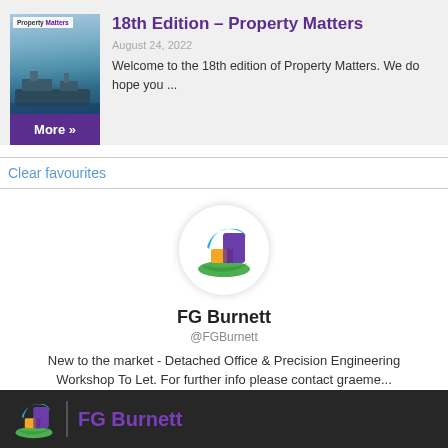[Figure (illustration): Thumbnail image of Property Matters newsletter cover showing ships/harbour]
18th Edition – Property Matters
August 24, 2022
Welcome to the 18th edition of Property Matters. We do hope you ...
More »
Clear favourites
[Figure (logo): FG Burnett logo - colourful geometric shapes (blue arc, purple square, orange square, green shape) on white circle]
FG Burnett
@FGBurnett
New to the market - Detached Office & Precision Engineering Workshop To Let. For further info please contact graeme...
FG Burnett